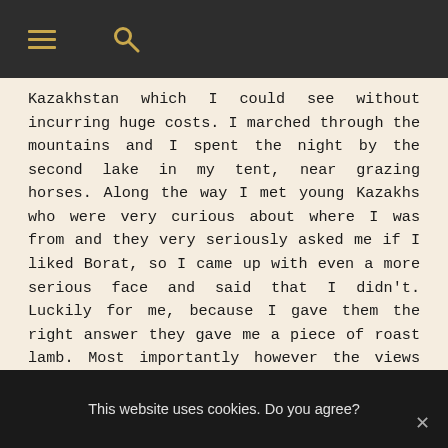☰  🔍
Kazakhstan which I could see without incurring huge costs. I marched through the mountains and I spent the night by the second lake in my tent, near grazing horses. Along the way I met young Kazakhs who were very curious about where I was from and they very seriously asked me if I liked Borat, so I came up with even a more serious face and said that I didn't. Luckily for me, because I gave them the right answer they gave me a piece of roast lamb. Most importantly however the views were beautiful. Mountains were covered partly with trees and I saw a green lake, the river, yurts and grazing animals. Whilst there I felt very happy, even though I was poor.
This website uses cookies. Do you agree?